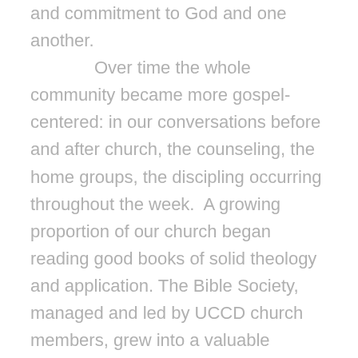and commitment to God and one another. Over time the whole community became more gospel-centered: in our conversations before and after church, the counseling, the home groups, the discipling occurring throughout the week. A growing proportion of our church began reading good books of solid theology and application. The Bible Society, managed and led by UCCD church members, grew into a valuable ministry resource spreading good books of sound doctrine and life application. Annual Bible conferences exposed our members to outstanding teachers and ministry networks, solidifying the theological direction of the church. We worked and prayed to become an entire community centered on the gospel of God's grace.